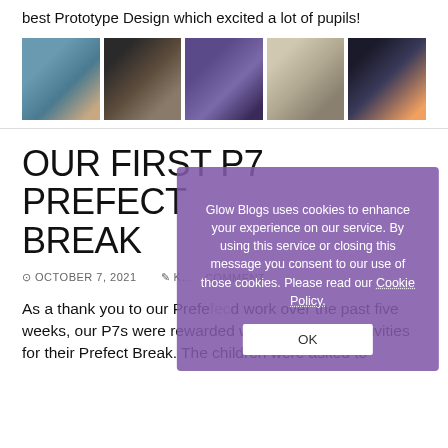best Prototype Design which excited a lot of pupils!
[Figure (photo): Five photos showing students working with tablets and drawing designs in a classroom setting]
OUR FIRST P7 PREFECT BREAK
OCTOBER 7, 2021   COMMENT
As a thank you to our Prefects for their hard work over the past five weeks, our P7s were rewarded with a choice of activities for their Prefect Break. The children were asked to
Glow Blogs uses cookies to enhance your experience on our service. By using this service or closing this message you consent to our use of those cookies. Please read our Cookie Policy.
OK